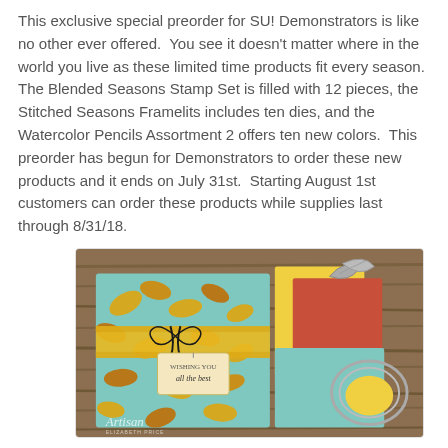This exclusive special preorder for SU! Demonstrators is like no other ever offered.  You see it doesn't matter where in the world you live as these limited time products fit every season.  The Blended Seasons Stamp Set is filled with 12 pieces, the Stitched Seasons Framelits includes ten dies, and the Watercolor Pencils Assortment 2 offers ten new colors.  This preorder has begun for Demonstrators to order these new products and it ends on July 31st.  Starting August 1st customers can order these products while supplies last through 8/31/18.
[Figure (photo): Photo of handmade autumn/fall themed paper craft items including a teal gift box decorated with stamped leaves tied with a yellow ribbon and black twine, a tag reading 'Wishing you all the best', autumn leaf die-cut embellishments, and yellow/red/teal layered cards. An 'Artisan' watermark with 'Elizabeth Price' text is visible in the lower left. Items are displayed on a wooden surface.]